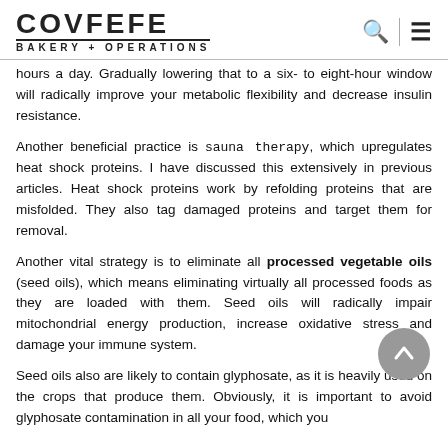COVFEFE BAKERY + OPERATIONS
hours a day. Gradually lowering that to a six- to eight-hour window will radically improve your metabolic flexibility and decrease insulin resistance.
Another beneficial practice is sauna therapy, which upregulates heat shock proteins. I have discussed this extensively in previous articles. Heat shock proteins work by refolding proteins that are misfolded. They also tag damaged proteins and target them for removal.
Another vital strategy is to eliminate all processed vegetable oils (seed oils), which means eliminating virtually all processed foods as they are loaded with them. Seed oils will radically impair mitochondrial energy production, increase oxidative stress and damage your immune system.
Seed oils also are likely to contain glyphosate, as it is heavily used on the crops that produce them. Obviously, it is important to avoid glyphosate contamination in all your food, which you